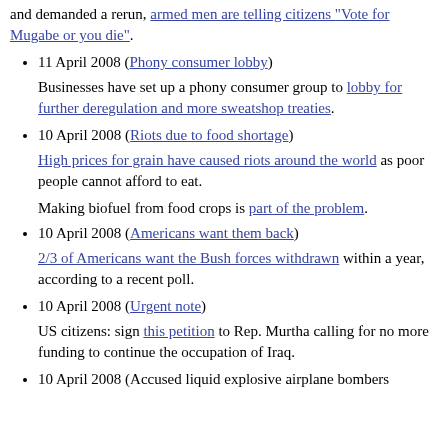and demanded a rerun, armed men are telling citizens "Vote for Mugabe or you die".
11 April 2008 (Phony consumer lobby)
Businesses have set up a phony consumer group to lobby for further deregulation and more sweatshop treaties.
10 April 2008 (Riots due to food shortage)
High prices for grain have caused riots around the world as poor people cannot afford to eat.
Making biofuel from food crops is part of the problem.
10 April 2008 (Americans want them back)
2/3 of Americans want the Bush forces withdrawn within a year, according to a recent poll.
10 April 2008 (Urgent note)
US citizens: sign this petition to Rep. Murtha calling for no more funding to continue the occupation of Iraq.
10 April 2008 (Accused liquid explosive airplane bombers